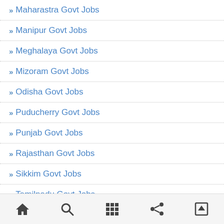Maharastra Govt Jobs
Manipur Govt Jobs
Meghalaya Govt Jobs
Mizoram Govt Jobs
Odisha Govt Jobs
Puducherry Govt Jobs
Punjab Govt Jobs
Rajasthan Govt Jobs
Sikkim Govt Jobs
Tamilnadu Govt Jobs
Telangana State Govt Jobs
Tripura State Govt Jobs
Home | Search | Grid | Share | Up